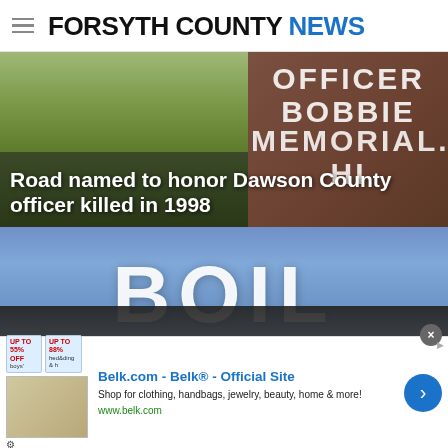FORSYTH COUNTY NEWS
[Figure (photo): Photo of a road sign partially visible reading OFFICER BOBBIE MEMORIAL HI, with trees in background. Brown memorial highway sign.]
Road named to honor Dawson County officer killed in 1998
[Figure (photo): Photo of a boil water advisory sign with large white letters reading BOIL, with a school bus roof visible in the lower portion.]
County working to repair water main leak on Shady Grove Road; boil water advisory in effect
[Figure (other): Advertisement for Belk.com - Belk Official Site. Shop for clothing, handbags, jewelry, beauty, home and more! www.belk.com]